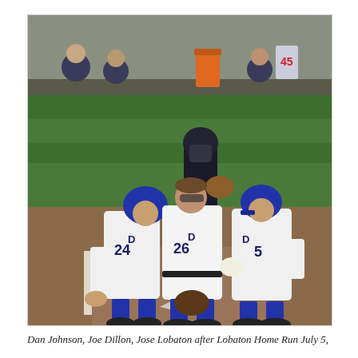[Figure (photo): Three baseball players in white uniforms with blue accents and numbers 24, 26, and 5 walking near home plate on a baseball field. A catcher in dark uniform is visible in the background near the dugout.]
Dan Johnson, Joe Dillon, Jose Lobaton after Lobaton Home Run July 5,